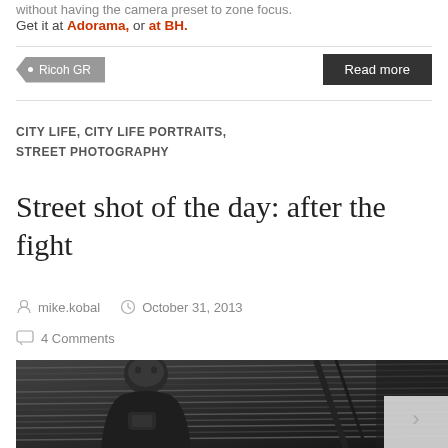without having the camera preset to zone focus.
Get it at Adorama, or at BH.
• Ricoh GR
Read more
CITY LIFE, CITY LIFE PORTRAITS, STREET PHOTOGRAPHY
Street shot of the day: after the fight
mike.kobal   October 31, 2013
4 Comments
[Figure (photo): Black and white street photograph of a man looking downward, standing in front of a corrugated metal shutter/garage door with diagonal lines in the background.]